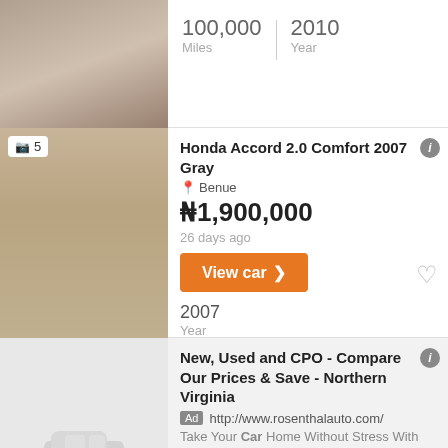100,000 Miles | 2010 Year
Honda Accord 2.0 Comfort 2007 Gray
Benue
₦1,900,000
26 days ago
2007 Year
New, Used and CPO - Compare Our Prices & Save - Northern Virginia
Ad http://www.rosenthalauto.com/
Take Your Car Home Without Stress With Our Pre-Owned Quality Vehicle Inspection Program. With This Many Dealerships, We'r...
Motor Vehicle Lawyer Near Me - Motor Vehicle Lawyer Near Me